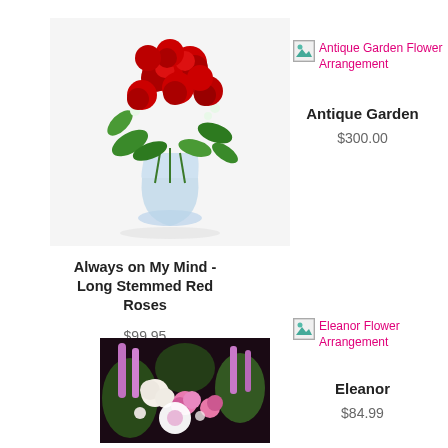[Figure (photo): Bouquet of long-stemmed red roses in a glass vase with green leaves]
Always on My Mind - Long Stemmed Red Roses
$99.95
[Figure (photo): Broken image icon for Antique Garden Flower Arrangement]
Antique Garden
$300.00
[Figure (photo): Eleanor flower arrangement with pink and white flowers on dark background]
[Figure (photo): Broken image icon for Eleanor Flower Arrangement]
Eleanor
$84.99